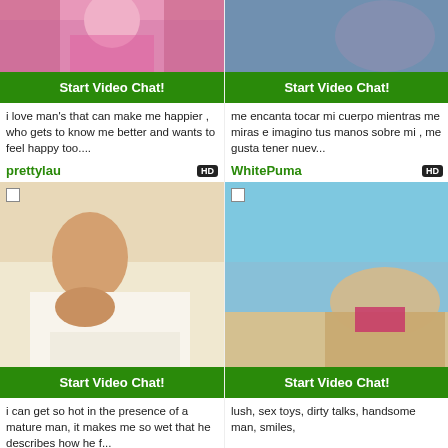[Figure (photo): Top-left thumbnail: woman in pink top with blonde hair]
Start Video Chat!
i love man's that can make me happier , who gets to know me better and wants to feel happy too....
prettylau
[Figure (photo): Top-right thumbnail: close-up partial body shot outdoors]
Start Video Chat!
me encanta tocar mi cuerpo mientras me miras e imagino tus manos sobre mi , me gusta tener nuev...
WhitePuma
[Figure (photo): Mid-left: young woman sitting on bed with white sheet]
Start Video Chat!
i can get so hot in the presence of a mature man, it makes me so wet that he describes how he f...
wetsexylady
[Figure (photo): Mid-right: woman in pink bikini lying on beach]
Start Video Chat!
lush, sex toys, dirty talks, handsome man, smiles,
SophiaMars
[Figure (photo): Bottom-left thumbnail: woman in red]
[Figure (photo): Bottom-right thumbnail: dark scene]